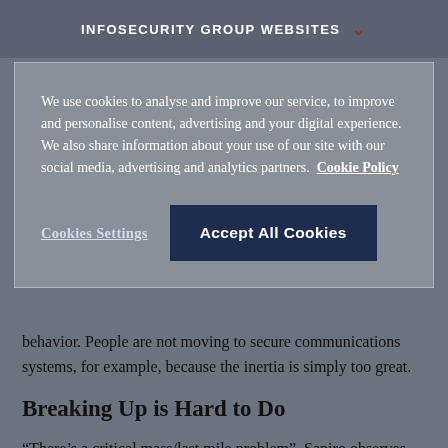INFOSECURITY GROUP WEBSITES
We use cookies to analyse and improve our service, to improve and personalise content, advertising and your digital experience. We also share information about your use of our site with our social media, advertising and analytics partners. Cookie Policy
Cookies Settings | Accept All Cookies
behavior. People are not moving to secure communications systems, for example, because the inertia is simply too great.
Breaking Up is Hard to Do
“There’s a critical mass/last mile problem”, Sapiro observes. “If you and I are on a secure system and we want to interface with a third party, how do we do that?” Secure technologies need bridges.